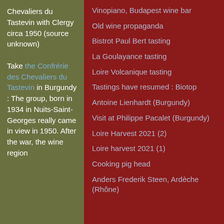Chevaliers du Tastevin with Clergy circa 1950 (source unknown)

Take the Confrérie des Chevaliers du Tastevin in Burgundy : The group, born in 1934 in Nuits-Saint-Georges really came in view in 1950. After the war, the wine region
Vinopiano, Budapest wine bar
Old wine propaganda
Bistrot Paul Bert tasting
La Goulayance tasting
Loire Volcanique tasting
Tastings have resumed : Biotop
Antoine Lienhardt (Burgundy)
Visit at Philippe Pacalet (Burgundy)
Loire Harvest 2021 (2)
Loire harvest 2021 (1)
Cooking pig head
Anders Frederik Steen, Ardèche (Rhône)